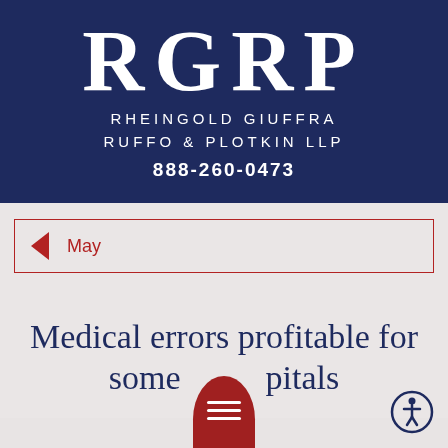[Figure (logo): RGRP law firm logo with large serif letters R G R P and firm name Rheingold Giuffra Ruffo & Plotkin LLP on dark navy background, phone number 888-260-0473]
May
Medical errors profitable for some hospitals